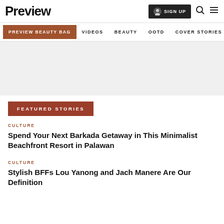Preview
SIGN UP | Search | Menu
PREVIEW BEAUTY BAG | VIDEOS | BEAUTY | OOTD | COVER STORIES
[Figure (other): Gray advertisement placeholder area]
FEATURED STORIES
CULTURE
Spend Your Next Barkada Getaway in This Minimalist Beachfront Resort in Palawan
CULTURE
Stylish BFFs Lou Yanong and Jach Manere Are Our Definition